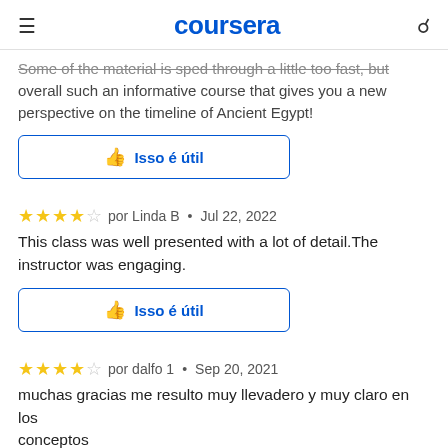coursera
Some of the material is sped through a little too fast, but overall such an informative course that gives you a new perspective on the timeline of Ancient Egypt!
Isso é útil
★★★★☆ por Linda B • Jul 22, 2022
This class was well presented with a lot of detail.The instructor was engaging.
Isso é útil
★★★★☆ por dalfo 1 • Sep 20, 2021
muchas gracias me resulto muy llevadero y muy claro en los conceptos